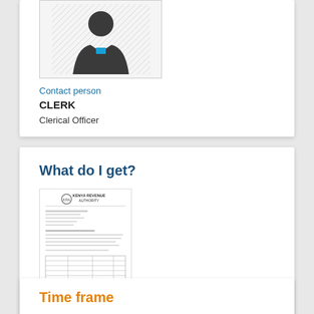[Figure (illustration): Generic contact person avatar icon showing a silhouette of a person in a suit with a blue tie, inside a bordered box]
Contact person
CLERK
Clerical Officer
What do I get?
[Figure (photo): Image of a registration letter document with orange/amber bottom section labeled 'Registration letter', appearing to be from Kenya Revenue Authority]
Time frame